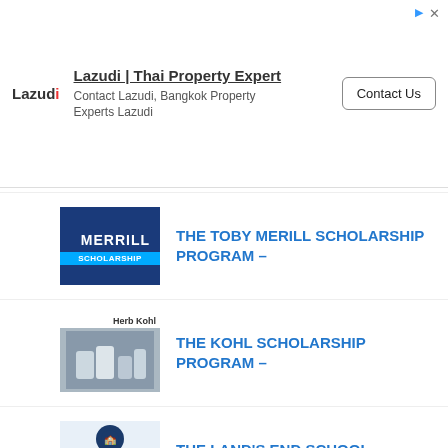[Figure (infographic): Advertisement banner for Lazudi Thai Property Expert with Contact Us button]
THE TOBY MERILL SCHOLARSHIP PROGRAM –
THE KOHL SCHOLARSHIP PROGRAM –
THE LAND'S END SCHOOL SCHOLARSHIP –
THE MVAC SCHOLARSHIP PROGRAM –